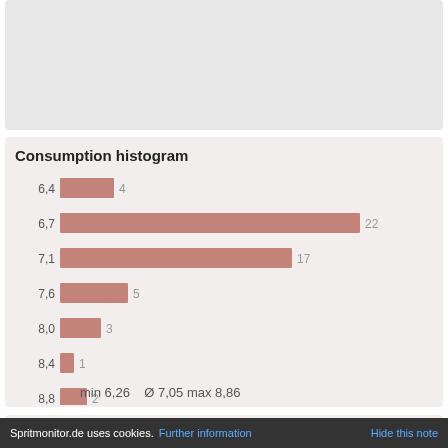[Figure (other): Gray placeholder/advertisement box at top of page]
Consumption histogram
[Figure (bar-chart): Consumption histogram]
min 6,26    Ø 7,05 max 8,86
Monthly Consumption
[Figure (line-chart): Monthly Consumption line chart showing values around 7.2–7.5 range, partially visible]
Spritmonitor.de uses cookies. Further information   Hide this note